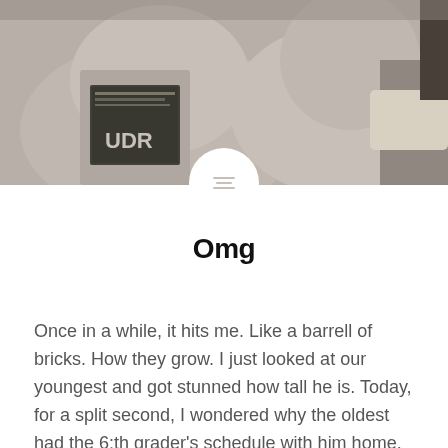[Figure (photo): Two children sitting together wearing gray sweatshirts/t-shirts, photo cropped to upper portion of page]
Omg
Once in a while, it hits me. Like a barrell of bricks. How they grow. I just looked at our youngest and got stunned how tall he is. Today, for a split second, I wondered why the oldest had the 6:th grader's schedule with him home.